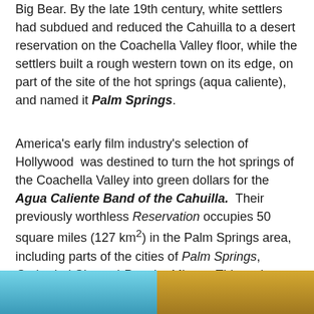Big Bear. By the late 19th century, white settlers had subdued and reduced the Cahuilla to a desert reservation on the Coachella Valley floor, while the settlers built a rough western town on its edge, on part of the site of the hot springs (aqua caliente), and named it Palm Springs.
America's early film industry's selection of Hollywood was destined to turn the hot springs of the Coachella Valley into green dollars for the Agua Caliente Band of the Cahuilla. Their previously worthless Reservation occupies 50 square miles (127 km²) in the Palm Springs area, including parts of the cities of Palm Springs, Cathedral City and Rancho Mirage. This makes the tribe an important player in the local economy, operating an array of business enterprises, including land leasing, hotel/casino operations and banking. The total population actually living on Reservation territory is over 25,000 although few of these are tribal members.
[Figure (photo): Bottom strip showing two partial photographs side by side: left side shows a teal/blue water or pool scene, right side shows a golden/yellow sandy or rocky landscape scene.]